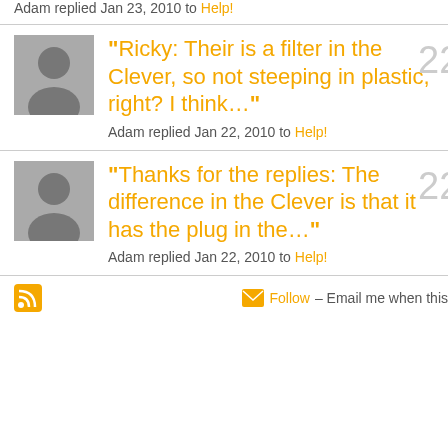Adam replied Jan 23, 2010 to Help!
"Ricky: Their is a filter in the Clever, so not steeping in plastic, right? I think…"
Adam replied Jan 22, 2010 to Help!
"Thanks for the replies: The difference in the Clever is that it has the plug in the…"
Adam replied Jan 22, 2010 to Help!
Follow – Email me when this